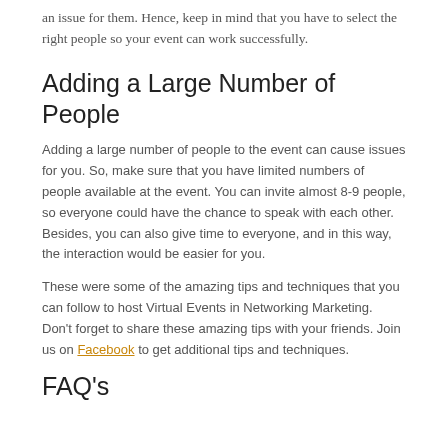an issue for them. Hence, keep in mind that you have to select the right people so your event can work successfully.
Adding a Large Number of People
Adding a large number of people to the event can cause issues for you. So, make sure that you have limited numbers of people available at the event. You can invite almost 8-9 people, so everyone could have the chance to speak with each other. Besides, you can also give time to everyone, and in this way, the interaction would be easier for you.
These were some of the amazing tips and techniques that you can follow to host Virtual Events in Networking Marketing.  Don't forget to share these amazing tips with your friends. Join us on Facebook to get additional tips and techniques.
FAQ's